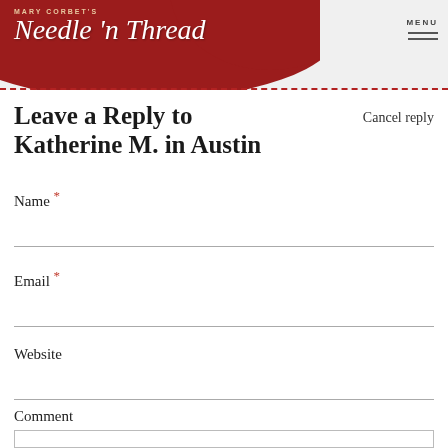MARY CORBET'S Needle n Thread — MENU
Leave a Reply to Katherine M. in Austin
Cancel reply
Name *
Email *
Website
Comment